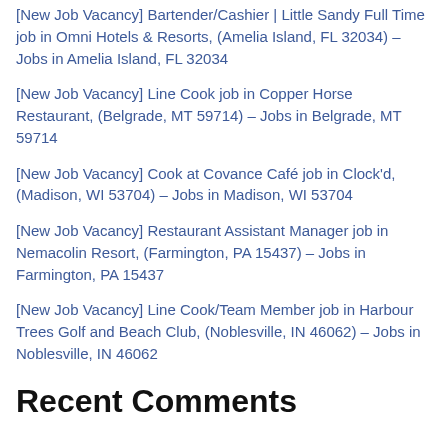[New Job Vacancy] Bartender/Cashier | Little Sandy Full Time job in Omni Hotels & Resorts, (Amelia Island, FL 32034) – Jobs in Amelia Island, FL 32034
[New Job Vacancy] Line Cook job in Copper Horse Restaurant, (Belgrade, MT 59714) – Jobs in Belgrade, MT 59714
[New Job Vacancy] Cook at Covance Café job in Clock'd, (Madison, WI 53704) – Jobs in Madison, WI 53704
[New Job Vacancy] Restaurant Assistant Manager job in Nemacolin Resort, (Farmington, PA 15437) – Jobs in Farmington, PA 15437
[New Job Vacancy] Line Cook/Team Member job in Harbour Trees Golf and Beach Club, (Noblesville, IN 46062) – Jobs in Noblesville, IN 46062
Recent Comments